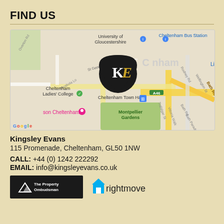FIND US
[Figure (map): Google Maps screenshot showing Cheltenham town centre with a black pin marked KE (Kingsley Evans) located near Cheltenham Town Hall, with landmarks including University of Gloucestershire, Cheltenham Bus Station, Cheltenham Ladies' College, and Montpellier Gardens visible.]
Kingsley Evans
115 Promenade, Cheltenham, GL50 1NW
CALL: +44 (0) 1242 222292
EMAIL: info@kingsleyevans.co.uk
[Figure (logo): The Property Ombudsman logo and Rightmove logo side by side]